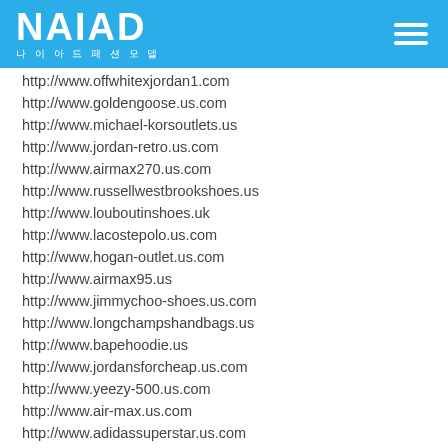NAIAD 나이아드패션모델
http://www.offwhitexjordan1.com
http://www.goldengoose.us.com
http://www.michael-korsoutlets.us
http://www.jordan-retro.us.com
http://www.airmax270.us.com
http://www.russellwestbrookshoes.us
http://www.louboutinshoes.uk
http://www.lacostepolo.us.com
http://www.hogan-outlet.us.com
http://www.airmax95.us
http://www.jimmychoo-shoes.us.com
http://www.longchampshandbags.us
http://www.bapehoodie.us
http://www.jordansforcheap.us.com
http://www.yeezy-500.us.com
http://www.air-max.us.com
http://www.adidassuperstar.us.com
http://www.kyrie3.us.com
http://www.kevindurant-shoes.us.com
http://www.coachhandbags.us.com